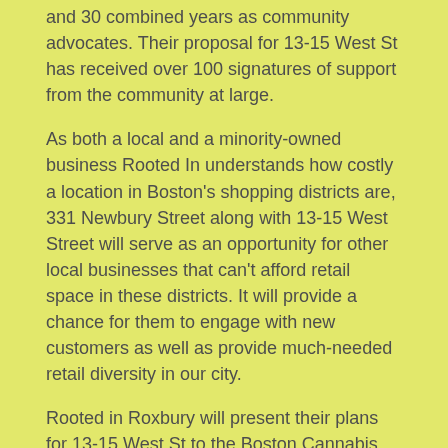and 30 combined years as community advocates. Their proposal for 13-15 West St has received over 100 signatures of support from the community at large.
As both a local and a minority-owned business Rooted In understands how costly a location in Boston's shopping districts are, 331 Newbury Street along with 13-15 West Street will serve as an opportunity for other local businesses that can't afford retail space in these districts. It will provide a chance for them to engage with new customers as well as provide much-needed retail diversity in our city.
Rooted in Roxbury will present their plans for 13-15 West St to the Boston Cannabis Board on December 8.
← First Night Boston 2022 Returns: Annual Celebration of New Year's Eve Returns to Copley Square | Artsemerson Production of White Rabbit Red Rabbit Set to Start December 7 →